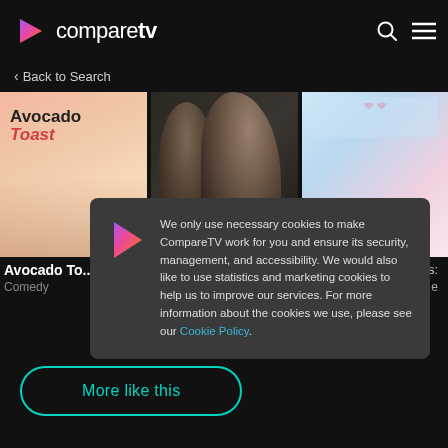comparetv
< Back to Search
[Figure (screenshot): Three TV show poster thumbnails: Avocado Toast (comedy), a dark thriller with two people, and a colorful Asian romantic comedy]
Avocado To...
Comedy
We only use necessary cookies to make CompareTV work for you and ensure its security, management, and accessibility. We would also like to use statistics and marketing cookies to help us to improve our services. For more information about the cookies we use, please see our Cookie Policy.
More like this